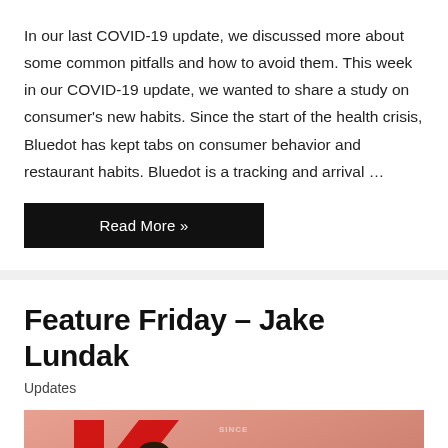In our last COVID-19 update, we discussed more about some common pitfalls and how to avoid them. This week in our COVID-19 update, we wanted to share a study on consumer's new habits. Since the start of the health crisis, Bluedot has kept tabs on consumer behavior and restaurant habits. Bluedot is a tracking and arrival …
Read More »
Feature Friday – Jake Lundak
Updates
[Figure (photo): Photo of Jake Lundak in front of a wall with a large red K logo shape. The KUNA logo text appears prominently in the image with a red K and black UNA letters.]